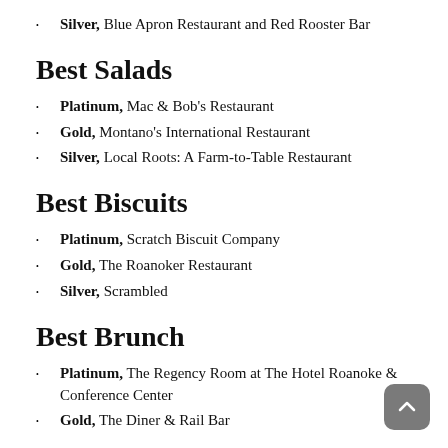Silver, Blue Apron Restaurant and Red Rooster Bar
Best Salads
Platinum, Mac & Bob's Restaurant
Gold, Montano's International Restaurant
Silver, Local Roots: A Farm-to-Table Restaurant
Best Biscuits
Platinum, Scratch Biscuit Company
Gold, The Roanoker Restaurant
Silver, Scrambled
Best Brunch
Platinum, The Regency Room at The Hotel Roanoke & Conference Center
Gold, The Diner & Rail Bar…